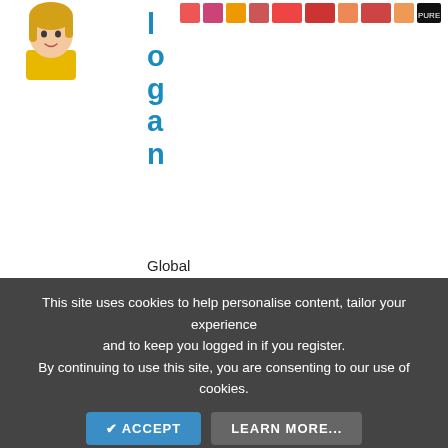[Figure (photo): Avatar of a blonde woman in yellow, cartoon style]
[Figure (illustration): Row of emoji/badge icons across the top of the page]
logan
Global Moderators
May 18, 2022
#10
@chungsie What is it meant to be used in though?
chungsie
This site uses cookies to help personalise content, tailor your experience and to keep you logged in if you register. By continuing to use this site, you are consenting to our use of cookies.